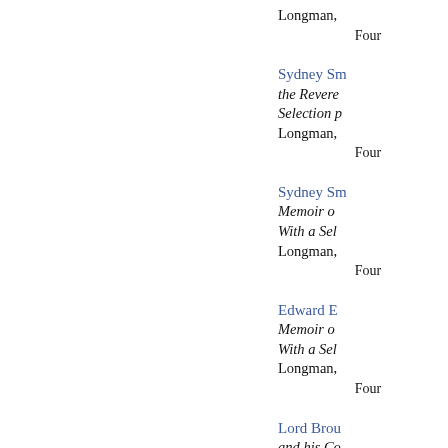Longman,
Four
Sydney Sm... the Revere... Selection p... Longman,
Four
Sydney Sm... Memoir o... With a Sel... Longman,
Four
Edward E... Memoir o... With a Sel... Longman,
Four
Lord Brou... and his Co...
Four